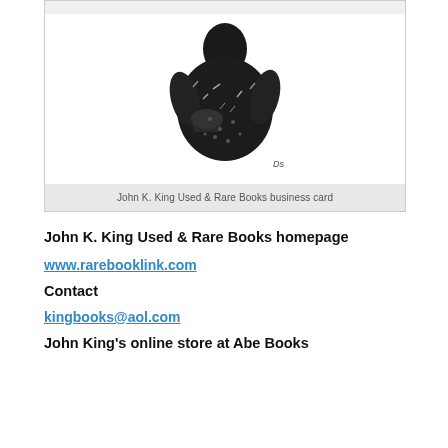[Figure (illustration): Black and white sketch/illustration of a figure, appears to be on a business card for John K. King Used & Rare Books]
John K. King Used & Rare Books business card
John K. King Used & Rare Books homepage
www.rarebooklink.com
Contact
kingbooks@aol.com
John King's online store at Abe Books